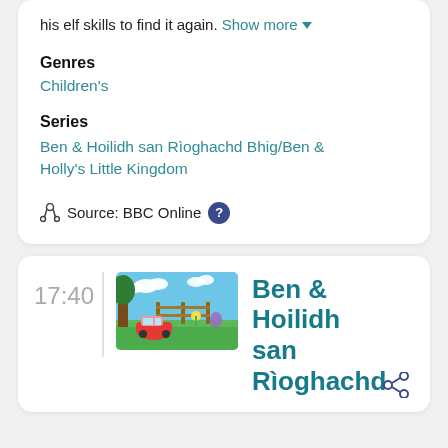his elf skills to find it again. Show more ▾
Genres
Children's
Series
Ben & Hoilidh san Rìoghachd Bhig/Ben & Holly's Little Kingdom
Source: BBC Online ?
17:40
[Figure (photo): Thumbnail image from Ben & Holly's Little Kingdom animated show, showing cartoon characters near a fence in a garden scene with blue sky and clouds.]
Ben & Hoilidh san Rìoghachd